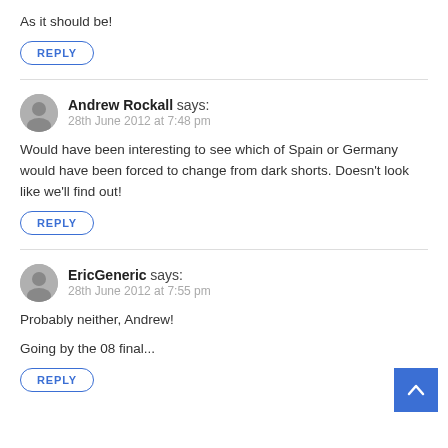As it should be!
REPLY
Andrew Rockall says:
28th June 2012 at 7:48 pm
Would have been interesting to see which of Spain or Germany would have been forced to change from dark shorts. Doesn't look like we'll find out!
REPLY
EricGeneric says:
28th June 2012 at 7:55 pm
Probably neither, Andrew!
Going by the 08 final...